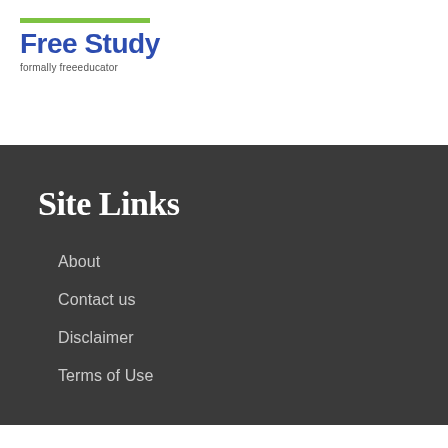[Figure (logo): Free Study logo with green bar above and text 'formally freeeducator' below]
Site Links
About
Contact us
Disclaimer
Terms of Use